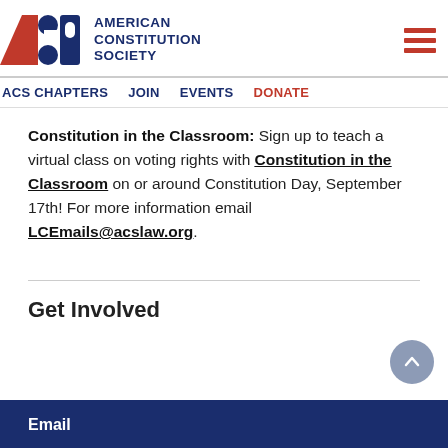[Figure (logo): American Constitution Society logo with red and blue ACS initials graphic and organization name]
ACS CHAPTERS  JOIN  EVENTS  DONATE
Constitution in the Classroom: Sign up to teach a virtual class on voting rights with Constitution in the Classroom on or around Constitution Day, September 17th! For more information email LCEmails@acslaw.org.
Get Involved
Email